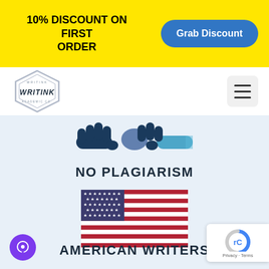10% DISCOUNT ON FIRST ORDER | Grab Discount
[Figure (logo): Writink academic writing service logo inside a hexagon shape]
[Figure (illustration): Two cartoon hands shaking (handshake icon) in dark navy and light blue, symbolizing no plagiarism]
NO PLAGIARISM
[Figure (illustration): American flag with red and white stripes and blue canton with white stars]
AMERICAN WRITERS